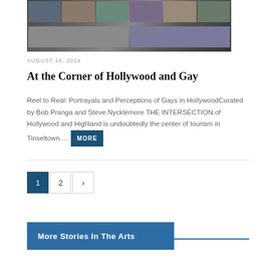[Figure (photo): A grid of celebrity photos from a Hollywood exhibition about gay portrayals]
AUGUST 16, 2014
At the Corner of Hollywood and Gay
Reel to Real: Portrayals and Perceptions of Gays in HollywoodCurated by Bob Pranga and Steve Nycklemore THE INTERSECTION of Hollywood and Highland is undoubtedly the center of tourism in Tinseltown.... MORE
1  2  >
More Stories In The Arts